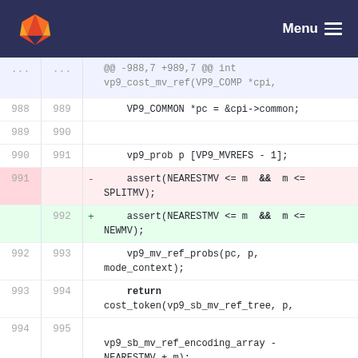GitLab Menu
@@ -988,7 +989,7 @@ int vp9_cost_mv_ref(VP9_COMP *cpi,
988  989      VP9_COMMON *pc = &cpi->common;
989  990
990  991      vp9_prob p [VP9_MVREFS - 1];
991    -  assert(NEARESTMV <= m  &&  m <= SPLITMV);
992  +  assert(NEARESTMV <= m  &&  m <= NEWMV);
992  993      vp9_mv_ref_probs(pc, p, mode_context);
993  994      return cost_token(vp9_sb_mv_ref_tree, p,
994  995      vp9_sb_mv_ref_encoding_array - NEARESTMV + m);
@@ -1536,6 +1537,7 @@ static int rd_pick_best_mbsegmentation(VP9_COMP *cpi, MACROBLOCK *x,
1536  1537      *returndistortion = bsi.d;